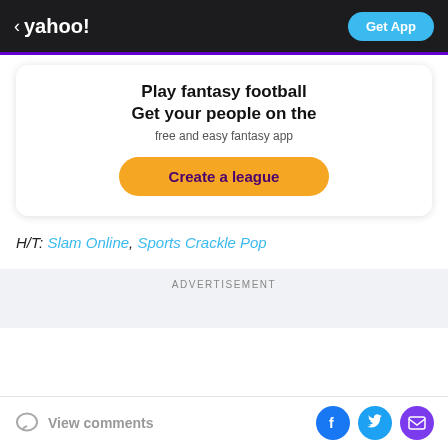< yahoo! Get App
[Figure (other): Yahoo Fantasy Football promotional card with 'Play fantasy football Get your people on the free and easy fantasy app' and 'Create a league' button]
H/T: Slam Online, Sports Crackle Pop
ADVERTISEMENT
View comments